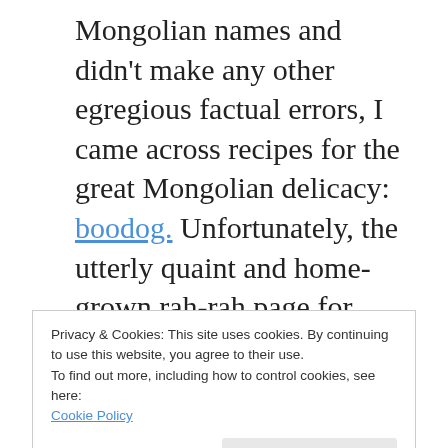Mongolian names and didn't make any other egregious factual errors, I came across recipes for the great Mongolian delicacy: boodog. Unfortunately, the utterly quaint and home-grown rah-rah page for getting people to visit Mongolia where I first encountered boodog has vanished into the ether, at least to the extent I'm willing to search for it (+/- 4 minutes). This page captures some of the features that have forever endeared Mongolia and Mongolians to me:
Privacy & Cookies: This site uses cookies. By continuing to use this website, you agree to their use.
To find out more, including how to control cookies, see here:
Cookie Policy
stones in the stomach.